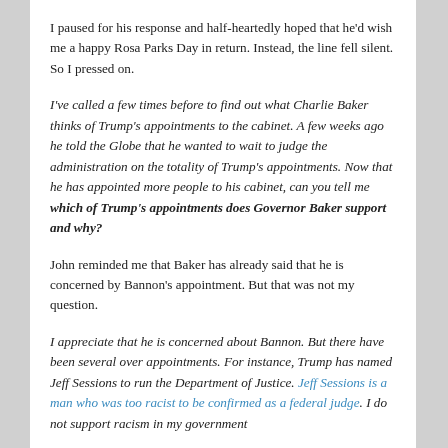I paused for his response and half-heartedly hoped that he'd wish me a happy Rosa Parks Day in return. Instead, the line fell silent. So I pressed on.
I've called a few times before to find out what Charlie Baker thinks of Trump's appointments to the cabinet. A few weeks ago he told the Globe that he wanted to wait to judge the administration on the totality of Trump's appointments. Now that he has appointed more people to his cabinet, can you tell me which of Trump's appointments does Governor Baker support and why?
John reminded me that Baker has already said that he is concerned by Bannon's appointment. But that was not my question.
I appreciate that he is concerned about Bannon. But there have been several over appointments. For instance, Trump has named Jeff Sessions to run the Department of Justice. Jeff Sessions is a man who was too racist to be confirmed as a federal judge. I do not support racism in my government